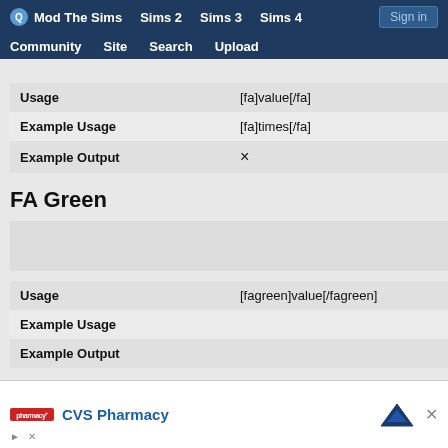Mod The Sims  Sims 2  Sims 3  Sims 4  Sign in  Community  Site  Search  Upload
|  |  |
| --- | --- |
| Usage | [fa]value[/fa] |
| Example Usage | [fa]times[/fa] |
| Example Output | × |
FA Green
[Figure (other): Gray preview box for FA Green example output]
|  |  |
| --- | --- |
| Usage | [fagreen]value[/fagreen] |
| Example Usage |  |
| Example Output |  |
FA Red
[Figure (other): CVS Pharmacy advertisement banner at bottom of page]